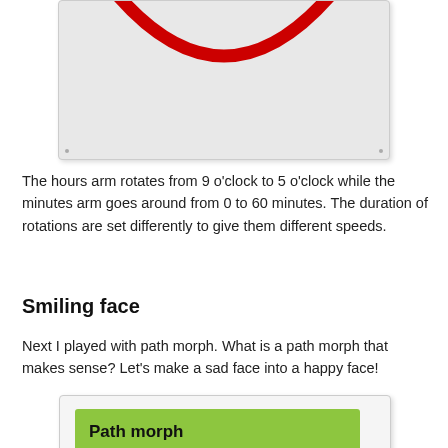[Figure (illustration): A gray box showing a red arc/smile shape (partial circle) at the top — the bottom portion of a clock or smiley face animation showing a curved red line on a light gray background.]
The hours arm rotates from 9 o'clock to 5 o'clock while the minutes arm goes around from 0 to 60 minutes. The duration of rotations are set differently to give them different speeds.
Smiling face
Next I played with path morph. What is a path morph that makes sense? Let's make a sad face into a happy face!
[Figure (screenshot): A UI element showing a green/yellow-green button labeled 'Path morph' in bold black text on a light gray card background.]